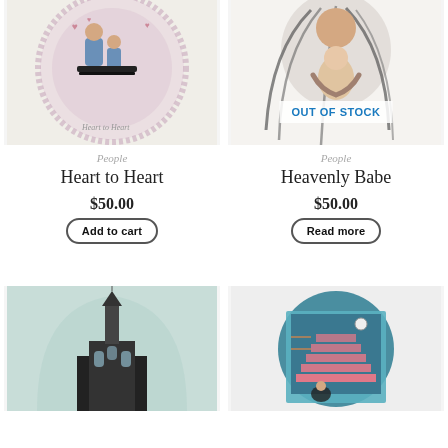[Figure (illustration): Artwork showing two people sitting together inside a circular design with hearts, signed 'Heart to Heart']
People
Heart to Heart
$50.00
Add to cart
[Figure (illustration): Artwork showing a woman with long flowing dark hair holding a baby, with 'OUT OF STOCK' overlay badge]
People
Heavenly Babe
$50.00
Read more
[Figure (illustration): Artwork showing a church or cathedral with a tall spire inside an arch, teal/green toned background]
[Figure (illustration): Artwork showing a circular design with interior staircase scene in teal and pink tones]